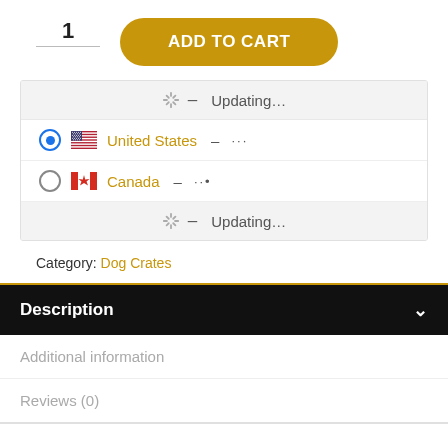1  ADD TO CART
- Updating...
United States - ...
Canada - ..
- Updating...
Category: Dog Crates
Description
Additional information
Reviews (0)